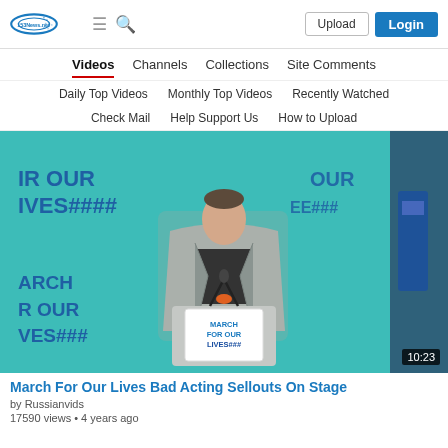153News.net — Upload | Login
Videos | Channels | Collections | Site Comments
Daily Top Videos | Monthly Top Videos | Recently Watched
Check Mail | Help Support Us | How to Upload
[Figure (screenshot): Video thumbnail showing a young man in a gray suit at a 'March For Our Lives' podium with teal background banners. Duration 10:23 shown in bottom-right corner.]
March For Our Lives Bad Acting Sellouts On Stage
by Russianvids
17590 views • 4 years ago